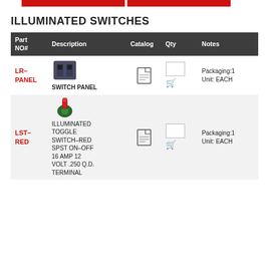[Figure (other): Two red banner/button elements at the top of the page]
ILLUMINATED SWITCHES
| Part NO# | Description | Catalog | Qty | Notes |
| --- | --- | --- | --- | --- |
| LR-PANEL | SWITCH PANEL | [pdf icon] | [qty box][cart] | Packaging:1
Unit: EACH |
| LST-RED | ILLUMINATED TOGGLE SWITCH-RED SPST ON-OFF 16 AMP 12 VOLT .250 Q.D. TERMINAL | [pdf icon] | [qty box][cart] | Packaging:1
Unit: EACH |